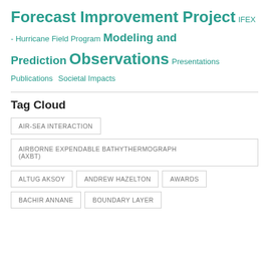Forecast Improvement Project IFEX - Hurricane Field Program Modeling and Prediction Observations Presentations Publications Societal Impacts
Tag Cloud
AIR-SEA INTERACTION
AIRBORNE EXPENDABLE BATHYTHERMOGRAPH (AXBT)
ALTUG AKSOY
ANDREW HAZELTON
AWARDS
BACHIR ANNANE
BOUNDARY LAYER